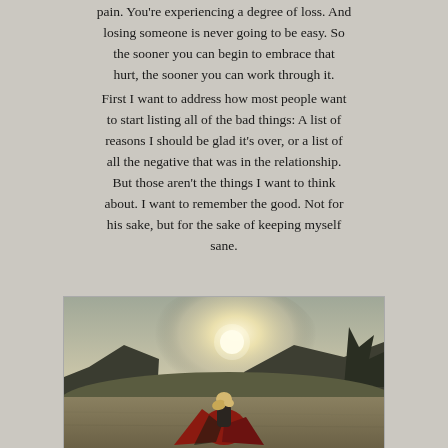pain. You're experiencing a degree of loss. And losing someone is never going to be easy. So the sooner you can begin to embrace that hurt, the sooner you can work through it.
First I want to address how most people want to start listing all of the bad things: A list of reasons I should be glad it's over, or a list of all the negative that was in the relationship. But those aren't the things I want to think about. I want to remember the good. Not for his sake, but for the sake of keeping myself sane.
[Figure (photo): A woman in a colorful floral dress standing in an open field with mountains and bright sunlight in the background, her dress flowing in the wind.]